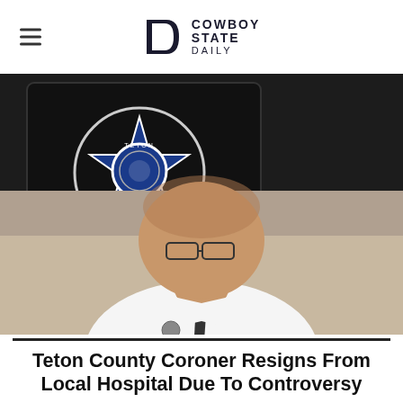COWBOY STATE DAILY
[Figure (photo): A man in a white shirt and dark tie sits in front of a television screen displaying the Teton County, Wyoming sheriff's badge/star logo. The man appears to be a county official, likely the Teton County Coroner, speaking or being interviewed.]
Teton County Coroner Resigns From Local Hospital Due To Controversy